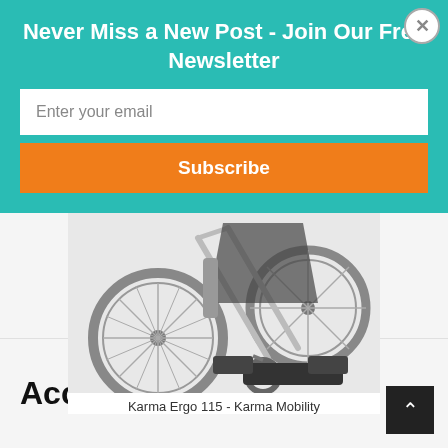Never Miss a New Post - Join Our Free Newsletter
Enter your email
Subscribe
[Figure (photo): Close-up of a wheelchair showing the wheels, footrests and frame - Karma Ergo 115 by Karma Mobility]
Karma Ergo 115 - Karma Mobility
Accessible Travel